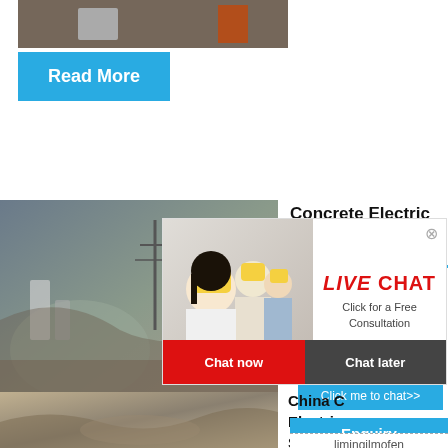[Figure (photo): Partial view of mining/quarry site photo at top]
Read More
[Figure (photo): Mining/quarry landscape photo on left mid-section]
Concrete Electric Pole reinforced
hour online
[Figure (photo): Live Chat overlay with workers in hard hats]
LIVE CHAT
Click for a Free Consultation
Chat now
Chat later
Read
[Figure (photo): Industrial crusher/jaw crusher machine image on right]
Click me to chat>>
[Figure (photo): Quarry/mining site photo at bottom left]
China C Electric Supplie
Enquiry
limingjlmofen